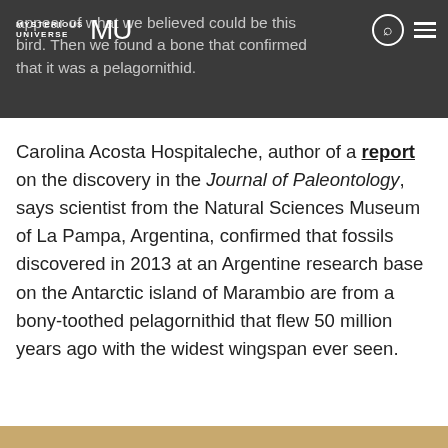MYSTERIOUS UNIVERSE MU
appear of what we believed could be this bird. Then we found a bone that confirmed that it was a pelagornithid.
Carolina Acosta Hospitaleche, author of a report on the discovery in the Journal of Paleontology, says scientist from the Natural Sciences Museum of La Pampa, Argentina, confirmed that fossils discovered in 2013 at an Argentine research base on the Antarctic island of Marambio are from a bony-toothed pelagornithid that flew 50 million years ago with the widest wingspan ever seen.